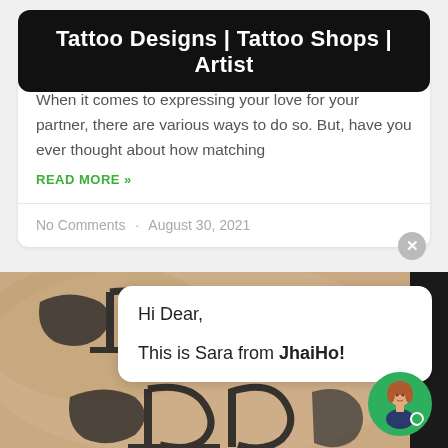Tattoo Designs | Tattoo Shops | Artist
When it comes to expressing your love for your partner, there are various ways to do so. But, have you ever thought about how matching
READ MORE »
No Comments · August 30, 2021
[Figure (photo): Close-up photo of a tattoo with Hindi/Devanagari script on skin]
Hi Dear,

This is Sara from JhaiHo!